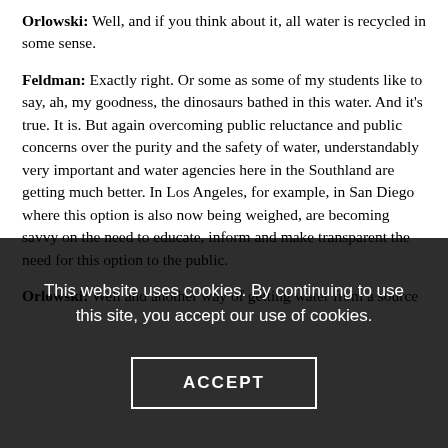Orlowski: Well, and if you think about it, all water is recycled in some sense.
Feldman: Exactly right. Or some as some of my students like to say, ah, my goodness, the dinosaurs bathed in this water. And it's true. It is. But again overcoming public reluctance and public concerns over the purity and the safety of water, understandably very important and water agencies here in the Southland are getting much better. In Los Angeles, for example, in San Diego where this option is also now being weighed, are becoming savvy on the need to educate, inform and make transparent the need for this option to the public.
Orlowski: Well and another way of getting water from a source that is sometimes that results instead of municipalities...
This website uses cookies. By continuing to use this site, you accept our use of cookies.